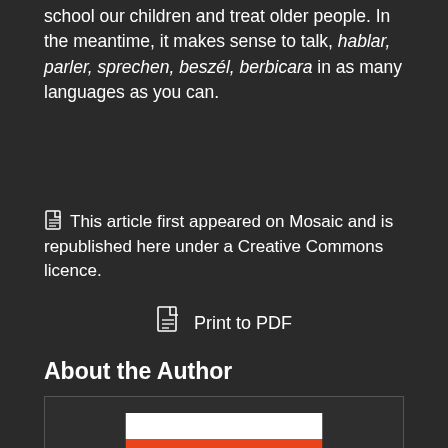school our children and treat older people. In the meantime, it makes sense to talk, hablar, parler, sprechen, beszél, berbicara in as many languages as you can.
This article first appeared on Mosaic and is republished here under a Creative Commons licence.
Print to PDF
About the Author
[Figure (logo): Mosaic science website logo showing orange banner with 'mosaic' text and '@MG.com' below on white background]